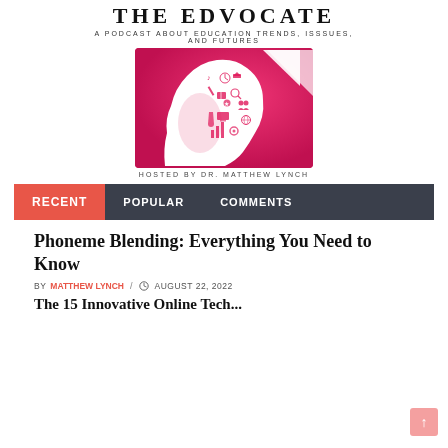THE EDVOCATE
A PODCAST ABOUT EDUCATION TRENDS, ISSSUES, AND FUTURES
[Figure (illustration): Pink background with white silhouette of a child's head profile filled with education-related icons such as books, music notes, clocks, graduation caps, microscopes, computers, globes, and charts.]
HOSTED BY DR. MATTHEW LYNCH
RECENT | POPULAR | COMMENTS
Phoneme Blending: Everything You Need to Know
BY MATTHEW LYNCH / AUGUST 22, 2022